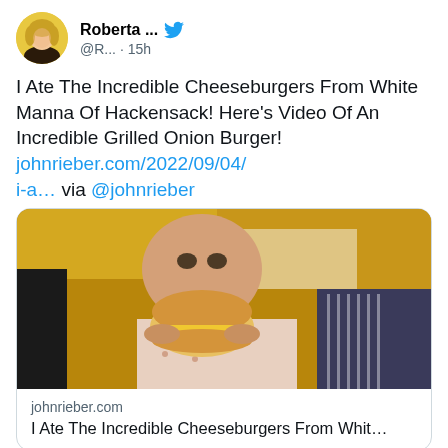[Figure (screenshot): Twitter/X profile avatar of a blonde woman with yellow background]
Roberta ... @R... · 15h
I Ate The Incredible Cheeseburgers From White Manna Of Hackensack! Here's Video Of An Incredible Grilled Onion Burger! johnrieber.com/2022/09/04/i-a... via @johnrieber
[Figure (photo): Man eating a cheeseburger inside a diner with yellow ceiling]
johnrieber.com
I Ate The Incredible Cheeseburgers From Whit...